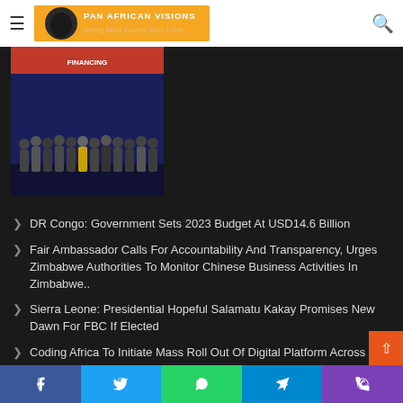Pan African Visions - Making Africa Success Story A New
[Figure (photo): Group photo of people on a stage with blue background and text banners]
DR Congo: Government Sets 2023 Budget At USD14.6 Billion
Fair Ambassador Calls For Accountability And Transparency, Urges Zimbabwe Authorities To Monitor Chinese Business Activities In Zimbabwe..
Sierra Leone: Presidential Hopeful Salamatu Kakay Promises New Dawn For FBC If Elected
Coding Africa To Initiate Mass Roll Out Of Digital Platform Across Africa
Cameroon: Nkafu Policy Institute Rallies Experts To X-Ray Role Private Health Insurance In Health Care Finance
Facebook  Twitter  WhatsApp  Telegram  Phone